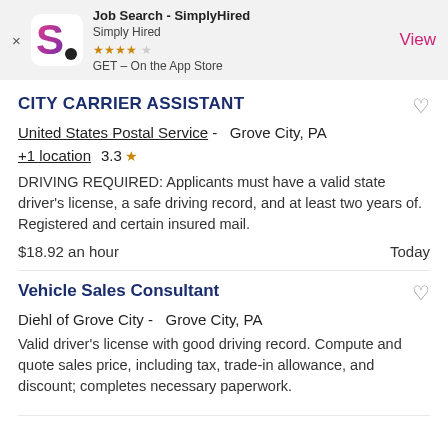[Figure (screenshot): App Store banner for Job Search - SimplyHired app with logo, 4-star rating, and View button]
CITY CARRIER ASSISTANT
United States Postal Service - Grove City, PA
+1 location  3.3 ★
DRIVING REQUIRED: Applicants must have a valid state driver's license, a safe driving record, and at least two years of. Registered and certain insured mail.
$18.92 an hour   Today
Vehicle Sales Consultant
Diehl of Grove City -  Grove City, PA
Valid driver's license with good driving record. Compute and quote sales price, including tax, trade-in allowance, and discount; completes necessary paperwork.